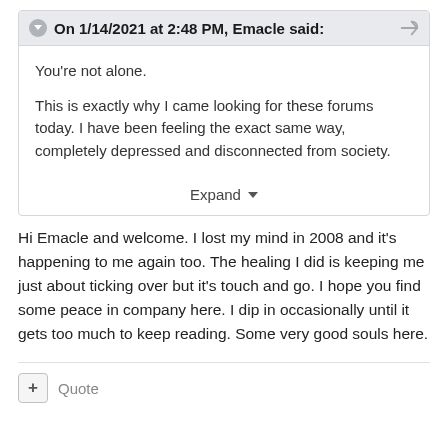On 1/14/2021 at 2:48 PM, Emacle said:
You're not alone.

This is exactly why I came looking for these forums today. I have been feeling the exact same way, completely depressed and disconnected from society.
Expand
Hi Emacle and welcome. I lost my mind in 2008 and it's happening to me again too. The healing I did is keeping me just about ticking over but it's touch and go. I hope you find some peace in company here. I dip in occasionally until it gets too much to keep reading. Some very good souls here.
Quote